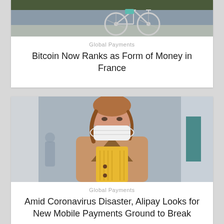[Figure (photo): Bicycle leaning against a wall, partial view from above]
Global Payments
Bitcoin Now Ranks as Form of Money in France
[Figure (photo): Young woman wearing a white face mask, dressed in a beige coat and yellow sweater, standing outdoors in an urban setting]
Global Payments
Amid Coronavirus Disaster, Alipay Looks for New Mobile Payments Ground to Break